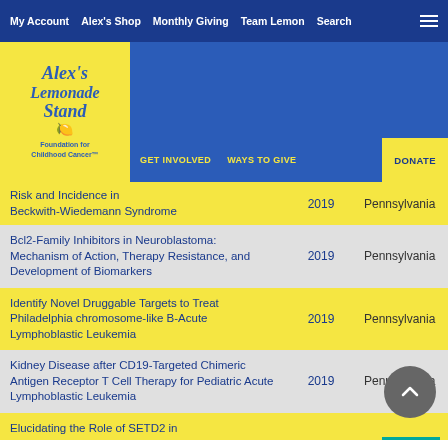My Account | Alex's Shop | Monthly Giving | Team Lemon | Search
[Figure (logo): Alex's Lemonade Stand Foundation for Childhood Cancer logo]
| Title | Year | State |
| --- | --- | --- |
| Risk and Incidence in Beckwith-Wiedemann Syndrome | 2019 | Pennsylvania |
| Bcl2-Family Inhibitors in Neuroblastoma: Mechanism of Action, Therapy Resistance, and Development of Biomarkers | 2019 | Pennsylvania |
| Identify Novel Druggable Targets to Treat Philadelphia chromosome-like B-Acute Lymphoblastic Leukemia | 2019 | Pennsylvania |
| Kidney Disease after CD19-Targeted Chimeric Antigen Receptor T Cell Therapy for Pediatric Acute Lymphoblastic Leukemia | 2019 | Pennsylvania |
| Elucidating the Role of SETD2 in… |  |  |